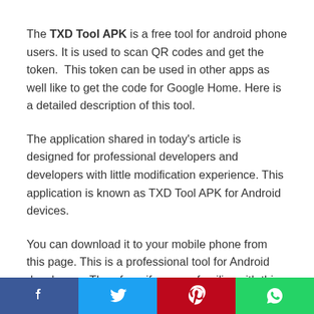The TXD Tool APK is a free tool for android phone users. It is used to scan QR codes and get the token. This token can be used in other apps as well like to get the code for Google Home. Here is a detailed description of this tool.
The application shared in today's article is designed for professional developers and developers with little modification experience. This application is known as TXD Tool APK for Android devices.
You can download it to your mobile phone from this page. This is a professional tool for Android developers. Therefore, if you are familiar with this field, you can download the latest version of the app from this post. We